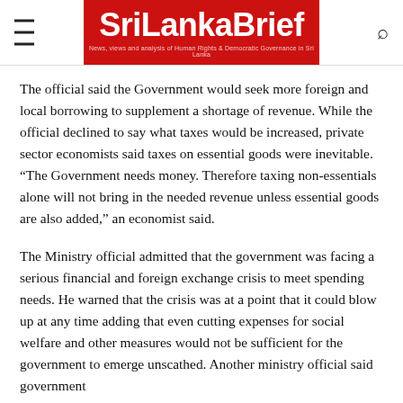SriLankaBrief — News, views and analysis of Human Rights & Democratic Governance in Sri Lanka
The official said the Government would seek more foreign and local borrowing to supplement a shortage of revenue. While the official declined to say what taxes would be increased, private sector economists said taxes on essential goods were inevitable. “The Government needs money. Therefore taxing non-essentials alone will not bring in the needed revenue unless essential goods are also added,” an economist said.
The Ministry official admitted that the government was facing a serious financial and foreign exchange crisis to meet spending needs. He warned that the crisis was at a point that it could blow up at any time adding that even cutting expenses for social welfare and other measures would not be sufficient for the government to emerge unscathed. Another ministry official said government spending expenses increased by hundreds of crores of fund